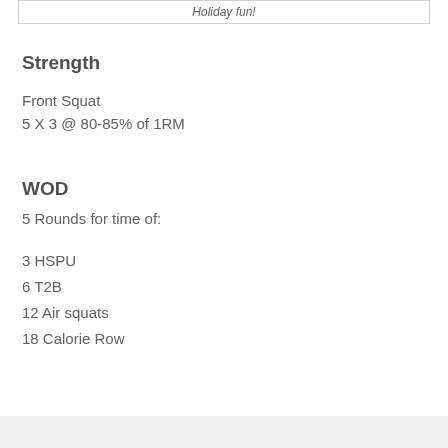Holiday fun!
Strength
Front Squat
5 X 3 @ 80-85% of 1RM
WOD
5 Rounds for time of:
3 HSPU
6 T2B
12 Air squats
18 Calorie Row